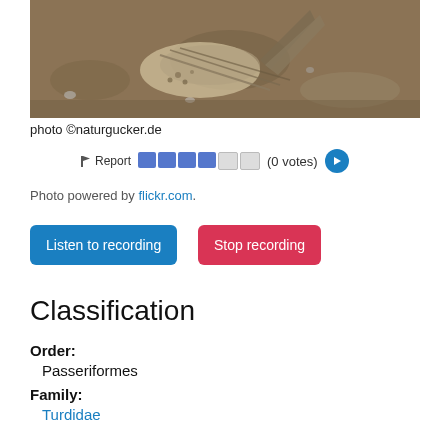[Figure (photo): Close-up photograph of a bird (thrush) on sandy/gravelly ground, showing feather detail]
photo ©naturgucker.de
Report  (0 votes)
Photo powered by flickr.com.
Listen to recording
Stop recording
Classification
Order:
Passeriformes
Family:
Turdidae
Genus:
Turdus
Scientific: